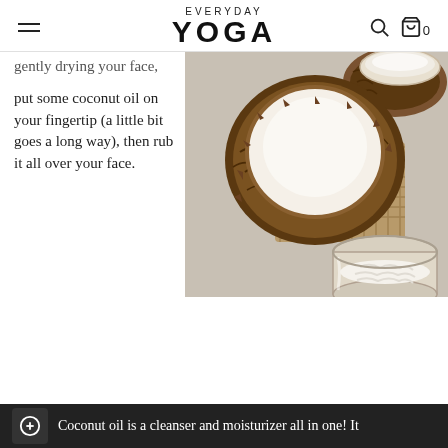EVERYDAY YOGA
gently drying your face, put some coconut oil on your fingertip (a little bit goes a long way), then rub it all over your face.
[Figure (photo): Overhead photo of coconut halved open showing white flesh, pieces of coconut shell, a glass jar filled with coconut oil flakes, and small bowls, on a stone/burlap surface]
It works wonders for the whole body as a moisturizer. You can use it on your hands, feet, and even as a massage oil.
Coconut oil is a cleanser and moisturizer all in one! It